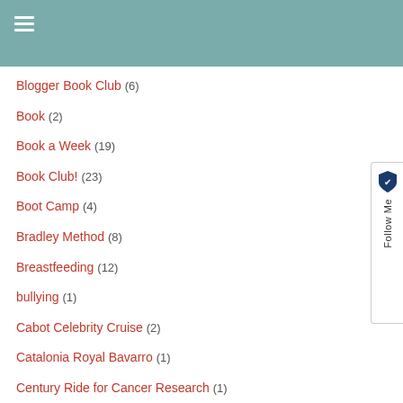☰ (navigation menu)
Blogger Book Club (6)
Book (2)
Book a Week (19)
Book Club! (23)
Boot Camp (4)
Bradley Method (8)
Breastfeeding (12)
bullying (1)
Cabot Celebrity Cruise (2)
Catalonia Royal Bavarro (1)
Century Ride for Cancer Research (1)
Change for the Feta! (1)
Claire (5)